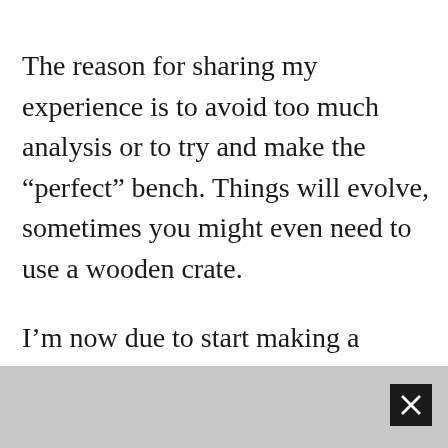The reason for sharing my experience is to avoid too much analysis or to try and make the “perfect” bench. Things will evolve, sometimes you might even need to use a wooden crate.
I’m now due to start making a furniture project on the bench, something stylish and sturdy with some simple joinery but I’ll hold off giving away much more until it’s done. Back to “Part 2” of the bench build where I progress the leg frames further. I decided to